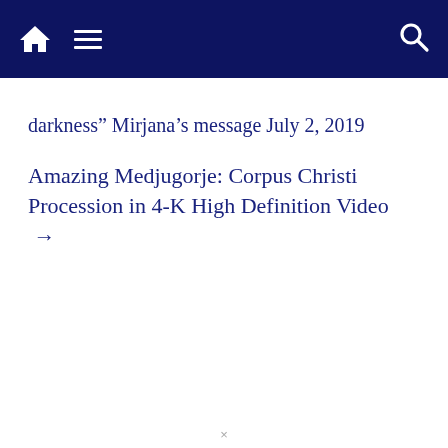[Navigation bar with home icon, hamburger menu, and search icon]
darkness” Mirjana’s message July 2, 2019
Amazing Medjugorje: Corpus Christi Procession in 4-K High Definition Video →